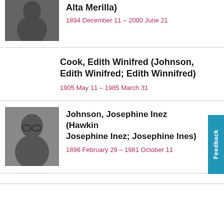[Figure (photo): Black and white portrait photo of a woman, cropped at top]
Alta Merilla)
1894 December 11 – 2000 June 21
Cook, Edith Winifred (Johnson, Edith Winifred; Edith Winnifred)
1905 May 11 – 1985 March 31
[Figure (photo): Black and white portrait photo of a woman with glasses]
Johnson, Josephine Inez (Hawkins, Josephine Inez; Josephine Ines)
1896 February 29 – 1981 October 11